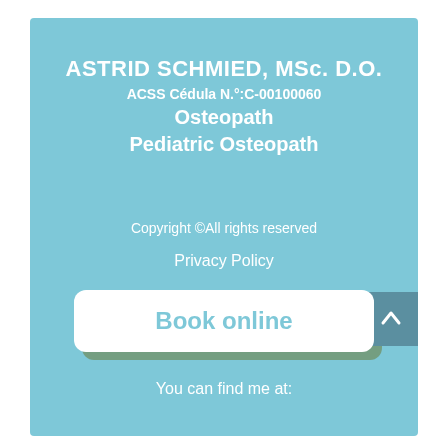ASTRID SCHMIED, MSc. D.O.
ACSS Cédula N.°:C-00100060
Osteopath
Pediatric Osteopath
Copyright ©All rights reserved
Privacy Policy
Book online
You can find me at: